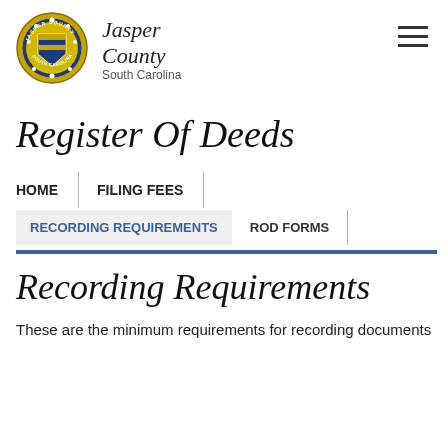[Figure (logo): Jasper County South Carolina seal — circular gold/blue/green county seal]
Jasper County South Carolina
Register Of Deeds
HOME
FILING FEES
RECORDING REQUIREMENTS
ROD FORMS
Recording Requirements
These are the minimum requirements for recording documents